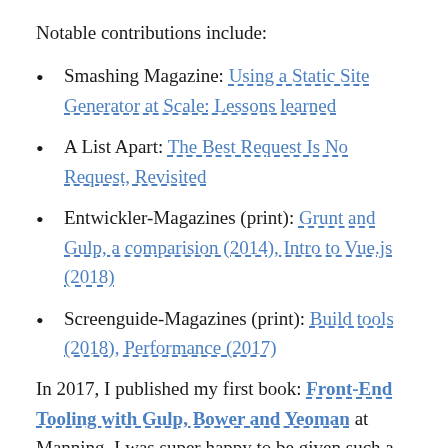Notable contributions include:
Smashing Magazine: Using a Static Site Generator at Scale: Lessons learned
A List Apart: The Best Request Is No Request, Revisited
Entwickler-Magazines (print): Grunt and Gulp, a comparision (2014), Intro to Vue.js (2018)
Screenguide-Magazines (print): Build tools (2018), Performance (2017)
In 2017, I published my first book: Front-End Tooling with Gulp, Bower and Yeoman at Manning. I was super happy to be given such a chance, and I think the book turned out pretty well. It was a long journey and I thought I'll never write one again. But I feel the